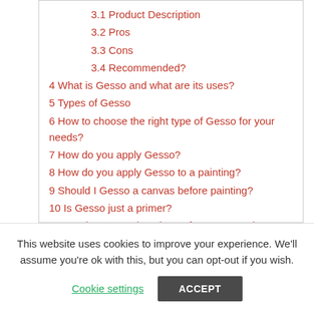3.1 Product Description
3.2 Pros
3.3 Cons
3.4 Recommended?
4 What is Gesso and what are its uses?
5 Types of Gesso
6 How to choose the right type of Gesso for your needs?
7 How do you apply Gesso?
8 How do you apply Gesso to a painting?
9 Should I Gesso a canvas before painting?
10 Is Gesso just a primer?
11 Do I have to wait 24 hours for Gesso to dry?
This website uses cookies to improve your experience. We'll assume you're ok with this, but you can opt-out if you wish.
Cookie settings | ACCEPT